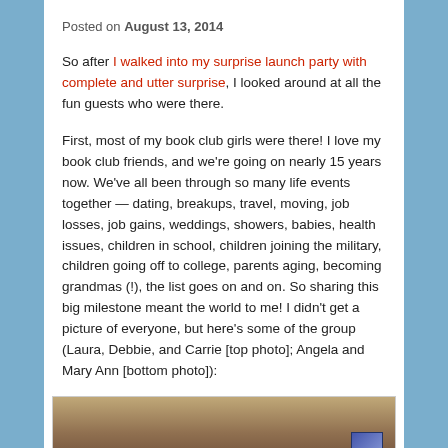Posted on August 13, 2014
So after I walked into my surprise launch party with complete and utter surprise, I looked around at all the fun guests who were there.
First, most of my book club girls were there! I love my book club friends, and we’re going on nearly 15 years now. We’ve all been through so many life events together — dating, breakups, travel, moving, job losses, job gains, weddings, showers, babies, health issues, children in school, children joining the military, children going off to college, parents aging, becoming grandmas (!), the list goes on and on. So sharing this big milestone meant the world to me! I didn’t get a picture of everyone, but here’s some of the group (Laura, Debbie, and Carrie [top photo]; Angela and Mary Ann [bottom photo]):
[Figure (photo): A photo of party guests, partially visible, showing people in a warm-toned indoor setting with a small inset image in the bottom right corner.]